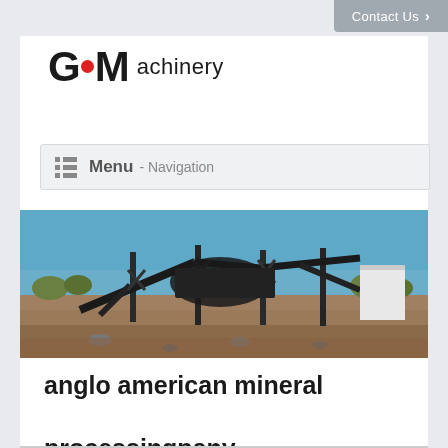Contact Us >
GCM achinery
Menu - Navigation
[Figure (photo): Outdoor industrial mineral processing plant with conveyor belts, structural steel framework, and machinery under a blue sky on a rocky terrain site.]
anglo american mineral processingpany